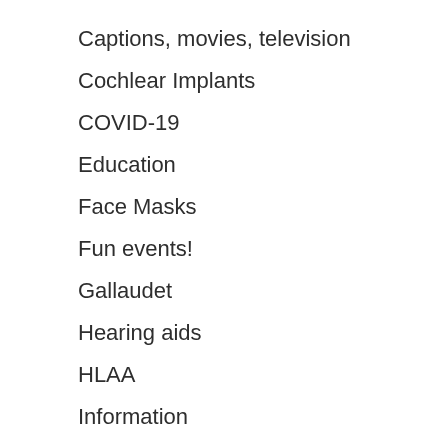Captions, movies, television
Cochlear Implants
COVID-19
Education
Face Masks
Fun events!
Gallaudet
Hearing aids
HLAA
Information
Legislation
Living With Hearing Loss
Medicare